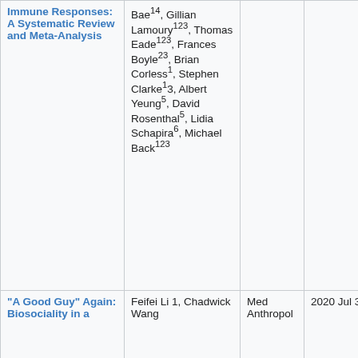| Title | Authors | Journal | Date | Link |
| --- | --- | --- | --- | --- |
| Immune Responses: A Systematic Review and Meta-Analysis | Bae14, Gillian Lamoury123, Thomas Eade123, Frances Boyle23, Brian Corless1, Stephen Clarke13, Albert Yeung5, David Rosenthal5, Lidia Schapira6, Michael Back123 |  |  |  |
| "A Good Guy" Again: Biosociality in a | Feifei Li 1, Chadwick Wang | Med Anthropol | 2020 Jul 3 | VI… |